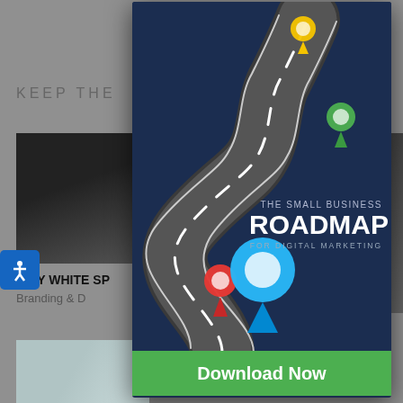[Figure (screenshot): Background website content showing partial text 'KEEP THE' and crowd photo, 'WHY WHITE SP', 'Branding & D' text visible behind a modal popup]
[Figure (illustration): Modal popup showing 'The Small Business Roadmap for Digital Marketing' with a winding road illustration featuring yellow, green, red, and blue location pin markers on a dark navy background]
THE SMALL BUSINESS
ROADMAP
FOR DIGITAL MARKETING
Download Now